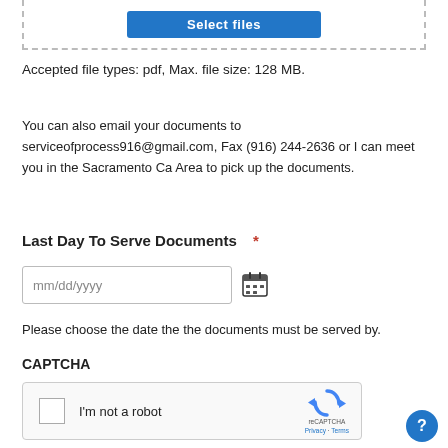[Figure (screenshot): Blue 'Select files' button inside a dashed upload box]
Accepted file types: pdf, Max. file size: 128 MB.
You can also email your documents to serviceofprocess916@gmail.com, Fax (916) 244-2636 or I can meet you in the Sacramento Ca Area to pick up the documents.
Last Day To Serve Documents  *
mm/dd/yyyy
Please choose the date the the documents must be served by.
CAPTCHA
[Figure (screenshot): reCAPTCHA widget with checkbox and 'I'm not a robot' text, reCAPTCHA logo, Privacy and Terms links]
[Figure (other): Blue circular help/question mark button in bottom right corner]